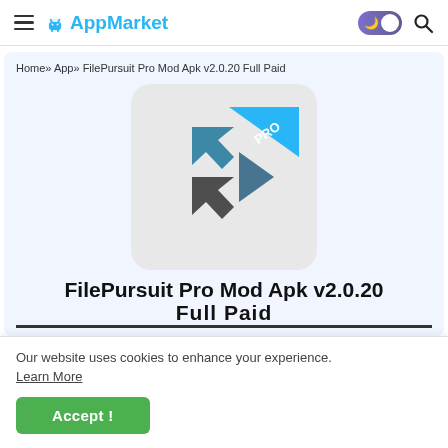AppMarket
Home» App» FilePursuit Pro Mod Apk v2.0.20 Full Paid
[Figure (logo): FilePursuit Pro app icon: a blue and dark grey angular arrow/play button logo with 'PRO' banner on a light grey rounded square background]
FilePursuit Pro Mod Apk v2.0.20 Full Paid
Our website uses cookies to enhance your experience.
Learn More
Accept !